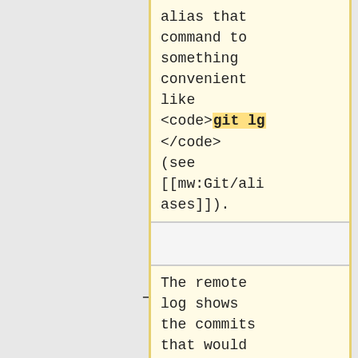alias that command to something convenient like <code>git lg</code> (see [[mw:Git/aliases]]).
alias that command to something convenient like <code>git lg</code> (see [[mw:Git/aliases]]).
(empty cell)
(empty cell)
The remote log shows the commits that would be added to the working copy when we rebase the local
The remote log shows the commits that would be added to the working copy when we rebase the local